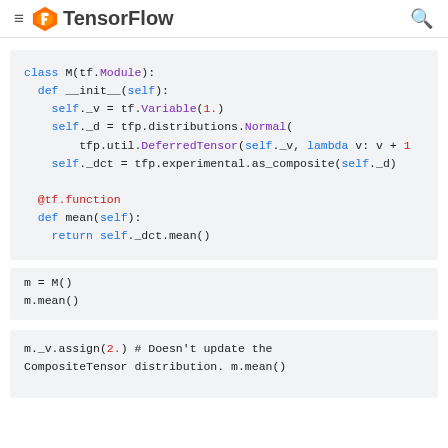TensorFlow
[Figure (screenshot): TensorFlow documentation page showing Python code for a class M with tf.Module, defining __init__ with tf.Variable and tfp distributions, and a mean method using @tf.function]
class M(tf.Module):
  def __init__(self):
    self._v = tf.Variable(1.)
    self._d = tfp.distributions.Normal(
        tfp.util.DeferredTensor(self._v, lambda v: v + 1
    self._dct = tfp.experimental.as_composite(self._d)

  @tf.function
  def mean(self):
    return self._dct.mean()

m = M()
m.mean()
m._v.assign(2.) # Doesn't update the
CompositeTensor distribution. m.mean()